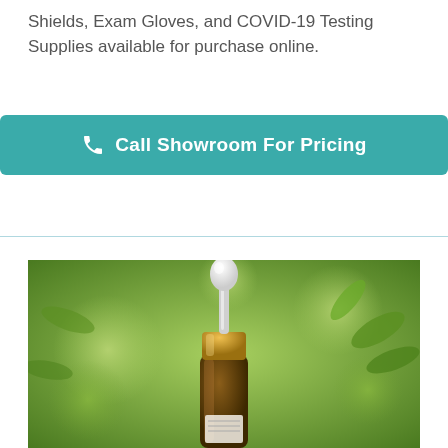Shields, Exam Gloves, and COVID-19 Testing Supplies available for purchase online.
[Figure (other): Teal/green button with phone icon reading 'Call Showroom For Pricing']
[Figure (photo): A dropper bottle with white rubber bulb, gold cap, and amber glass body, set against a blurred green leafy background.]